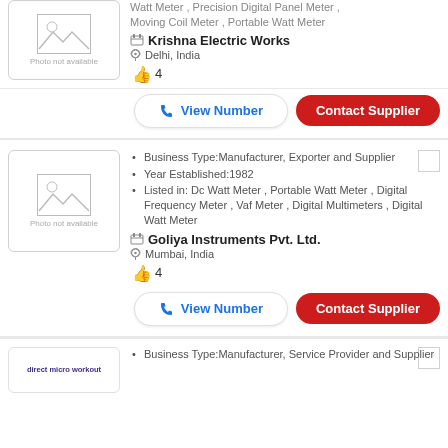[Figure (illustration): Photo not available placeholder image with mountain/image icon, first card]
Business Type:Manufacturer, Exporter and Supplier (implied top, partially visible)
Watt Meter , Precision Digital Panel Meter , Moving Coil Meter , Portable Watt Meter
Krishna Electric Works
Delhi, India
4
View Number
Contact Supplier
[Figure (illustration): Photo not available placeholder image with mountain/image icon, second card]
Business Type:Manufacturer, Exporter and Supplier
Year Established:1982
Listed in: Dc Watt Meter , Portable Watt Meter , Digital Frequency Meter , Vaf Meter , Digital Multimeters , Digital Watt Meter
Goliya Instruments Pvt. Ltd.
Mumbai, India
4
View Number
Contact Supplier
[Figure (logo): Partial company logo, third card (partially visible at bottom)]
Business Type:Manufacturer, Service Provider and Supplier